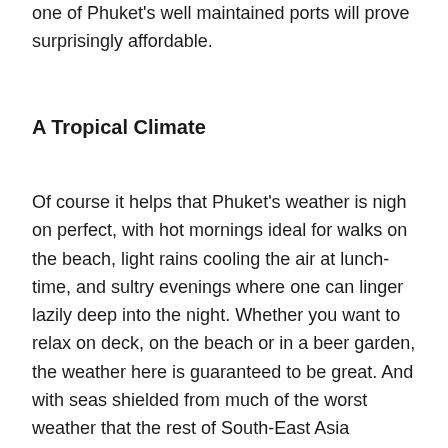one of Phuket's well maintained ports will prove surprisingly affordable.
A Tropical Climate
Of course it helps that Phuket's weather is nigh on perfect, with hot mornings ideal for walks on the beach, light rains cooling the air at lunch-time, and sultry evenings where one can linger lazily deep into the night. Whether you want to relax on deck, on the beach or in a beer garden, the weather here is guaranteed to be great. And with seas shielded from much of the worst weather that the rest of South-East Asia experienced, especially on Phuket's mild east coast, you do not have to be an experienced sailor to